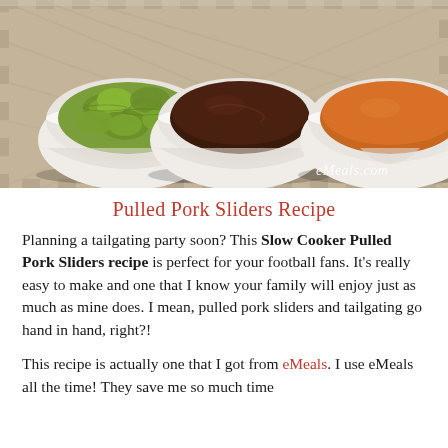[Figure (photo): Photo showing three white bowls on a plaid tablecloth: one with sliced pickles, one with dark barbecue sauce, and one with orange sauce. Watermark reads 'eMeals.com' in lower right.]
Pulled Pork Sliders Recipe
Planning a tailgating party soon? This Slow Cooker Pulled Pork Sliders recipe is perfect for your football fans. It’s really easy to make and one that I know your family will enjoy just as much as mine does. I mean, pulled pork sliders and tailgating go hand in hand, right?!
This recipe is actually one that I got from eMeals. I use eMeals all the time! They save me so much time and money! I heard from them that Deen r...